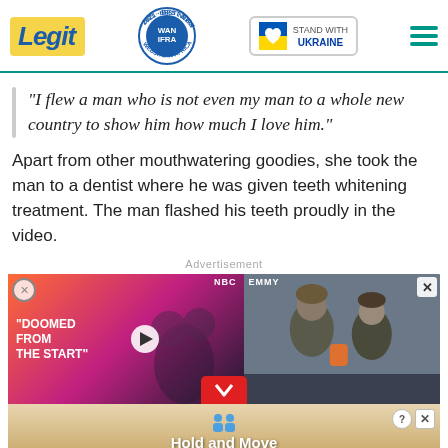Legit | WAN IFRA 2021 Best News Website in Africa | Stand With Ukraine
"I flew a man who is not even my man to a whole new country to show him how much I love him."
Apart from other mouthwatering goodies, she took the man to a dentist where he was given teeth whitening treatment. The man flashed his teeth proudly in the video.
Advertisement
[Figure (screenshot): Video advertisement showing two people with text 'DOOMED FROM THE START' on the left side in bright colors, and a news image on the right showing people in winter clothing, with NBC and EMMY labels, a play button, and a red down-chevron button at bottom center. Below it is a banner ad with figures and text 'Hold and Move' on a sandy background.]